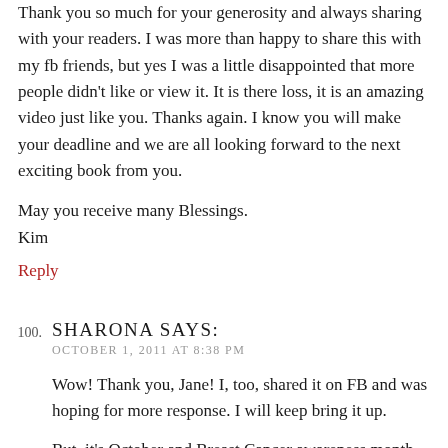Thank you so much for your generosity and always sharing with your readers. I was more than happy to share this with my fb friends, but yes I was a little disappointed that more people didn't like or view it. It is there loss, it is an amazing video just like you. Thanks again. I know you will make your deadline and we are all looking forward to the next exciting book from you.
May you receive many Blessings.
Kim
Reply
100. SHARONA SAYS:
OCTOBER 1, 2011 AT 8:38 PM
Wow! Thank you, Jane! I, too, shared it on FB and was hoping for more response. I will keep bring it up.
But, it's October and Breast Cancer awareness month. As a survivor, and having lost friends and family to this disease, I'll be sharing everything I can all month. Come...